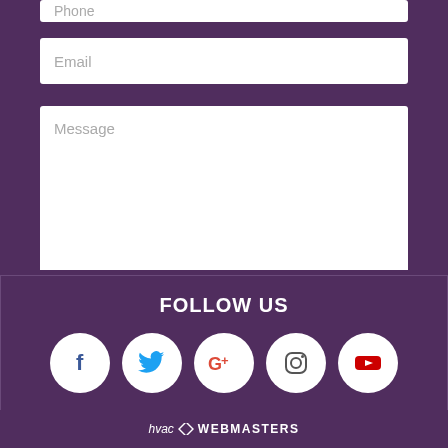[Figure (screenshot): Contact form with Phone (partially visible), Email, and Message input fields, plus a green SEND button on a purple background]
FOLLOW US
[Figure (infographic): Social media icons row: Facebook (f), Twitter bird, Google+ G+, Instagram camera, YouTube play button — all in white circles on purple background]
hvac WEBMASTERS